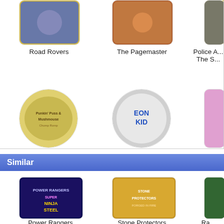[Figure (screenshot): Grid of cartoon/show thumbnails showing Road Rovers, The Pagemaster, Police A... The S..., Punkin' Puss & Mushmouse, Eon Kid, Cave...]
Similar
[Figure (screenshot): Grid of similar show thumbnails: Power Rangers Super Ninja Steel, Stone Protectors, Ra... Cunning... Grade...]